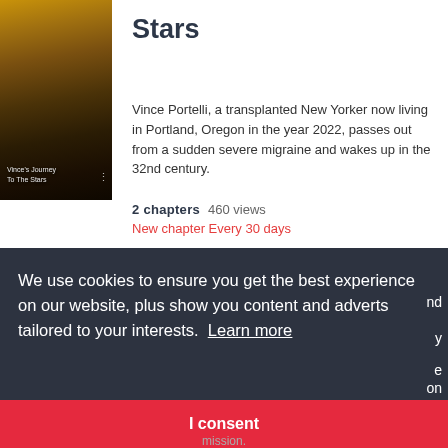[Figure (illustration): Book cover for 'Vince's Journey To The Stars' showing a dark golden/amber planet or moon against a dark background]
Stars
Vince Portelli, a transplanted New Yorker now living in Portland, Oregon in the year 2022, passes out from a sudden severe migraine and wakes up in the 32nd century.
2 chapters   460 views
New chapter Every 30 days
We use cookies to ensure you get the best experience on our website, plus show you content and adverts tailored to your interests.  Learn more
I consent